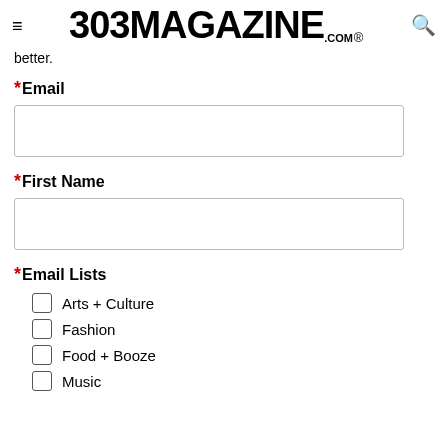303 MAGAZINE.COM ®
better.
* Email
* First Name
* Email Lists
Arts + Culture
Fashion
Food + Booze
Music